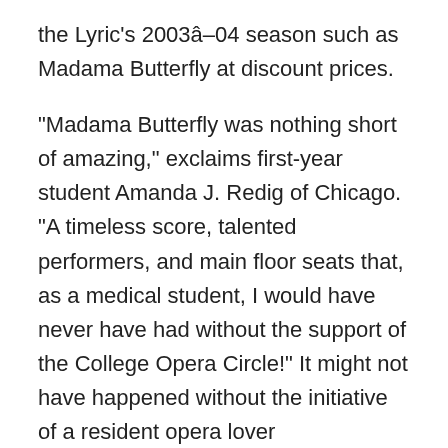the Lyric's 2003â04 season such as Madama Butterfly at discount prices.
“Madama Butterfly was nothing short of amazing,” exclaims first-year student Amanda J. Redig of Chicago. “A timeless score, talented performers, and main floor seats that, as a medical student, I would have never have had without the support of the College Opera Circle!” It might not have happened without the initiative of a resident opera lover extraordinaire: Michael Altman, MD, professor of medicine and associate dean for medical informatics and computer-assisted learning.
A member of Lyric’s lecture corps, Dr. Altman